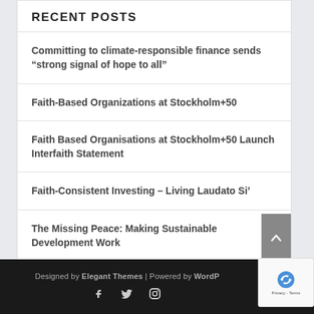RECENT POSTS
Committing to climate-responsible finance sends “strong signal of hope to all”
Faith-Based Organizations at Stockholm+50
Faith Based Organisations at Stockholm+50 Launch Interfaith Statement
Faith-Consistent Investing – Living Laudato Si’
The Missing Peace: Making Sustainable Development Work
Designed by Elegant Themes | Powered by WordP